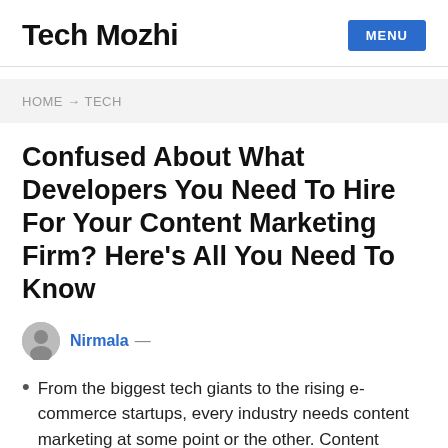Tech Mozhi
MENU
HOME → TECH
Confused About What Developers You Need To Hire For Your Content Marketing Firm? Here's All You Need To Know
Nirmala —
From the biggest tech giants to the rising e-commerce startups, every industry needs content marketing at some point or the other. Content writing